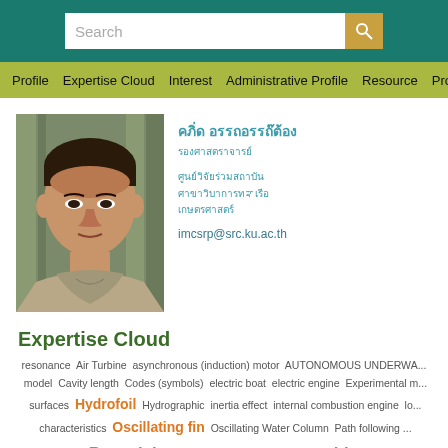Search
Profile   Expertise Cloud   Interest   Administrative Profile   Resource   Project
[Figure (photo): Headshot photo of a middle-aged Asian man in casual clothing, outdoor background]
[Thai name in Thai script]
[Thai subtitle in Thai script]
[Thai address lines in Thai script]
imcsrp@src.ku.ac.th
Expertise Cloud
resonance  Air Turbine  asynchronous (induction) motor  AUTONOMOUS UNDERWA...  model  Cavity length  Codes (symbols)  electric boat  electric engine  Experimental m...  surfaces  Hydrofoil  Hydrographic  inertia effect  internal combustion engine  lo...  characteristics  Oscillating fin  Oscillating Water Column  Path following ...  distribution  Propulsion  prototype  RANSE  renewable energy  Reyno...